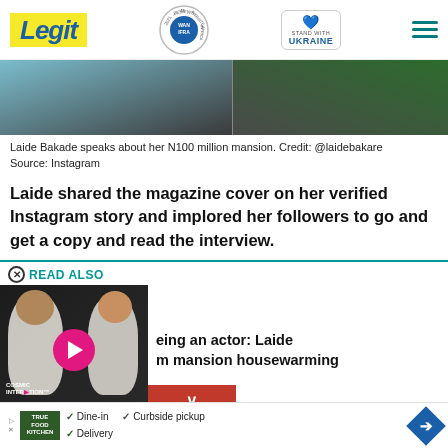Legit | WAN IFRA 2021 Best News Website in Africa | Stand with Ukraine
[Figure (photo): Photo strip showing people, one in dark clothing and one near green plants]
Laide Bakade speaks about her N100 million mansion. Credit: @laidebakare
Source: Instagram
Laide shared the magazine cover on her verified Instagram story and implored her followers to go and get a copy and read the interview.
READ ALSO
[Figure (screenshot): Video thumbnail with play button and text overlay showing two people; headline partially visible: 'eing an actor: Laide m mansion housewarming']
eing an actor: Laide
m mansion housewarming